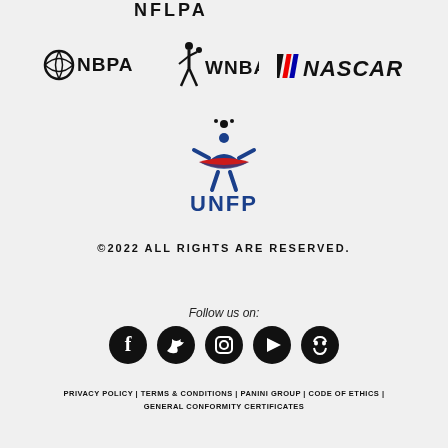[Figure (logo): NFLPA logo partial at top of page]
[Figure (logo): NBPA, WNBA, and NASCAR logos in a row]
[Figure (logo): UNFP logo (Union Nationale des Footballeurs Professionnels)]
©2022 ALL RIGHTS ARE RESERVED.
Follow us on:
[Figure (infographic): Social media icons: Facebook, Twitter, Instagram, YouTube, Discord]
PRIVACY POLICY | TERMS & CONDITIONS | PANINI GROUP | CODE OF ETHICS | GENERAL CONFORMITY CERTIFICATES